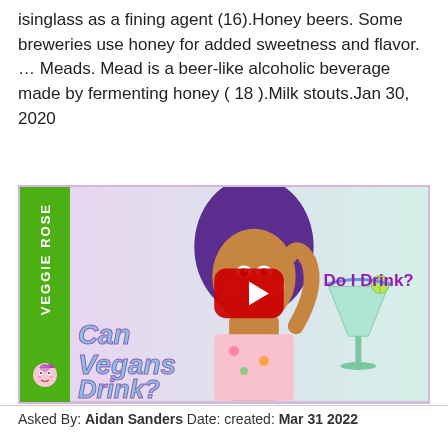isinglass as a fining agent (16).Honey beers. Some breweries use honey for added sweetness and flavor. … Meads. Mead is a beer-like alcoholic beverage made by fermenting honey ( 18 ).Milk stouts.Jan 30, 2020
[Figure (screenshot): YouTube video thumbnail for 'Veggie Rose' channel showing a woman with purple hair making a playful face. Text overlays read 'Can Vegans Drink?' in cyan and 'Do I Drink?' in purple. A green cocktail in a margarita glass is visible. A red YouTube play button is centered on the image. The left sidebar is green with 'VEGGIE ROSE' written vertically in white text.]
Asked By: Aidan Sanders Date: created: Mar 31 2022